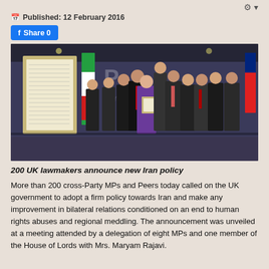Published: 12 February 2016
[Figure (photo): Group photo of approximately 12 UK MPs and Peers standing on a stage in front of an Iranian flag and a framed document, with a woman in purple holding a framed certificate in the center.]
200 UK lawmakers announce new Iran policy
More than 200 cross-Party MPs and Peers today called on the UK government to adopt a firm policy towards Iran and make any improvement in bilateral relations conditioned on an end to human rights abuses and regional meddling. The announcement was unveiled at a meeting attended by a delegation of eight MPs and one member of the House of Lords with Mrs. Maryam Rajavi.